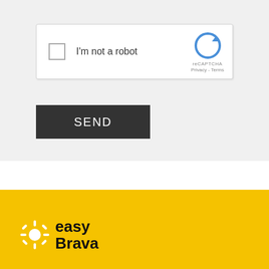[Figure (screenshot): reCAPTCHA widget with checkbox labeled 'I'm not a robot' and Google reCAPTCHA branding with Privacy and Terms links]
SEND
[Figure (logo): easyBrava logo - white sunburst icon on yellow background with bold text 'easy Brava']